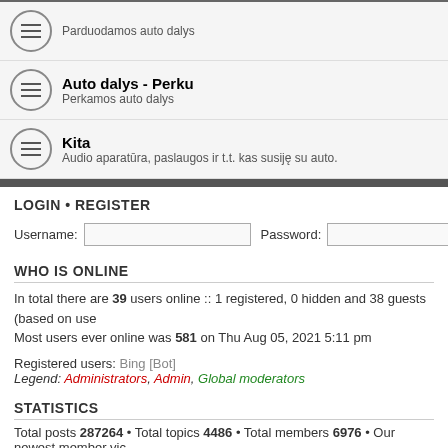Parduodamos auto dalys
Auto dalys - Perku — Perkamos auto dalys
Kita — Audio aparatūra, paslaugos ir t.t. kas susiję su auto.
LOGIN • REGISTER
Username: [input] Password: [input] | Lo
WHO IS ONLINE
In total there are 39 users online :: 1 registered, 0 hidden and 38 guests (based on use
Most users ever online was 581 on Thu Aug 05, 2021 5:11 pm
Registered users: Bing [Bot]
Legend: Administrators, Admin, Global moderators
STATISTICS
Total posts 287264 • Total topics 4486 • Total members 6976 • Our newest member vic
Board index
Powered by phpBB © 2000